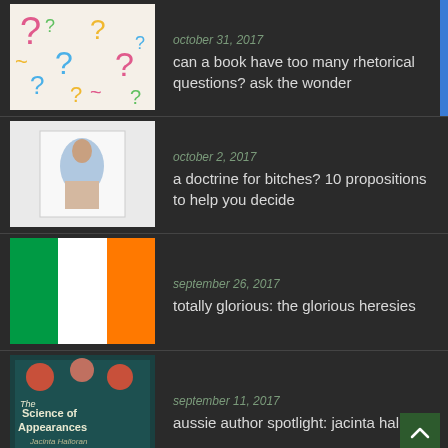[Figure (illustration): Colorful question mark squiggles illustration]
october 31, 2017
can a book have too many rhetorical questions? ask the wonder
[Figure (illustration): Small white book cover with figure illustration]
october 2, 2017
a doctrine for bitches? 10 propositions to help you decide
[Figure (illustration): Irish flag — green, white, orange vertical stripes]
september 26, 2017
totally glorious: the glorious heresies
[Figure (photo): Dark teal book cover: The Science of Appearances by Jacinta Halloran]
september 11, 2017
aussie author spotlight: jacinta halloran
[Figure (photo): Green tree bark or plant texture photo]
september 5, 2017
august: books i read and a thing that made me laugh
Subscribe to follow my blog